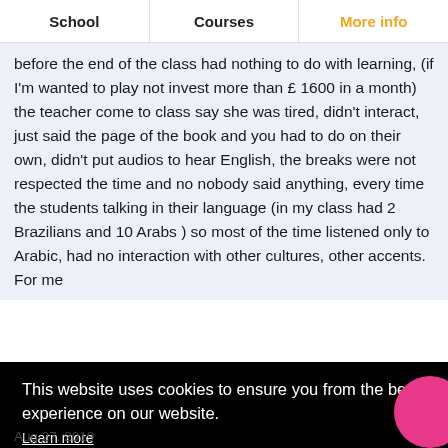School | Courses | More info
before the end of the class had nothing to do with learning, (if I'm wanted to play not invest more than £ 1600 in a month) the teacher come to class say she was tired, didn't interact, just said the page of the book and you had to do on their own, didn't put audios to hear English, the breaks were not respected the time and no nobody said anything, every time the students talking in their language (in my class had 2 Brazilians and 10 Arabs ) so most of the time listened only to Arabic, had no interaction with other cultures, other accents. For me
This website uses cookies to ensure you from the best experience on our website.
Learn more
Got it!
Aug 27, 2019